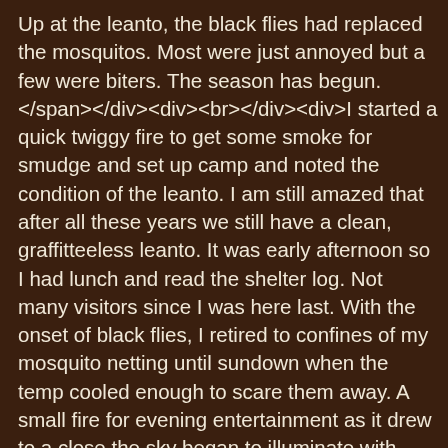Up at the leanto, the black flies had replaced the mosquitos. Most were just annoyed but a few were biters. The season has begun.</span></div><div><br></div><div>I started a quick twiggy fire to get some smoke for smudge and set up camp and noted the condition of the leanto. I am still amazed that after all these years we still have a clean, graffitteeless leanto. It was early afternoon so I had lunch and read the shelter log. Not many visitors since I was here last. With the onset of black flies, I retired to confines of my mosquito netting until sundown when the temp cooled enough to scare them away. A small fire for evening entertainment as it drew to a close the sky began to illuminate with glow from the crescent moon. My eyes grew heavy and I was soon &nbsp;asleep. I woke once during the night but not again until the sky was light. A half hour later I had eaten and was packed up. I wanted to get moving in the coolness of the AM before the bugs arose. Taking the easy, albeit more distance hikte out was very quick. I noted the southbound trail didn't seem to get much use. I wonder if the Bear Lake destination has leveled off now that the newness is gone. I know many had complained about its location